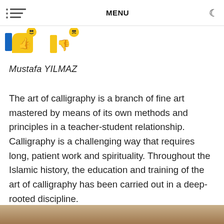MENU
[Figure (illustration): Thumbs up and thumbs down emoji icons with blue and yellow colors]
Mustafa YILMAZ
The art of calligraphy is a branch of fine art mastered by means of its own methods and principles in a teacher-student relationship. Calligraphy is a challenging way that requires long, patient work and spirituality. Throughout the Islamic history, the education and training of the art of calligraphy has been carried out in a deep-rooted discipline.
[Figure (photo): Bottom portion of a photo showing a wooden surface or desk, partially visible]